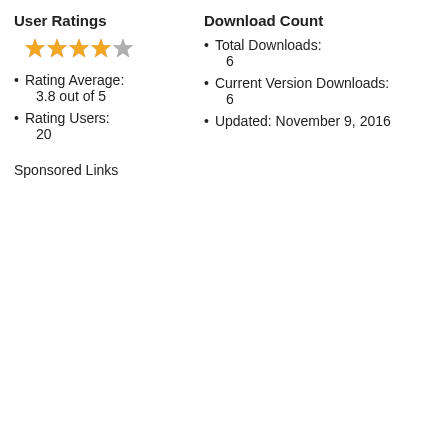User Ratings
[Figure (illustration): 4 filled gold stars and 1 half/gray star representing a 3.8 out of 5 rating]
Rating Average:
3.8 out of 5
Rating Users:
20
Download Count
Total Downloads:
6
Current Version Downloads:
6
Updated: November 9, 2016
Sponsored Links